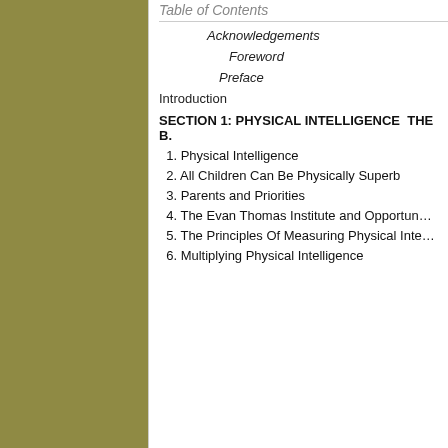Table of Contents
Acknowledgements
Foreword
Preface
Introduction
SECTION 1: PHYSICAL INTELLIGENCE  THE B.
1. Physical Intelligence
2. All Children Can Be Physically Superb
3. Parents and Priorities
4. The Evan Thomas Institute and Opportun…
5. The Principles Of Measuring Physical Inte…
6. Multiplying Physical Intelligence